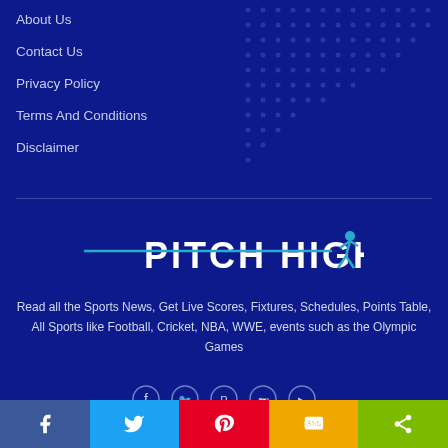About Us
Contact Us
Privacy Policy
Terms And Conditions
Disclaimer
[Figure (logo): Pitch High logo with stylized running figure and teal horizontal line accents]
Read all the Sports News, Get Live Scores, Fixtures, Schedules, Points Table, All Sports like Football, Cricket, NBA, WWE, events such as the Olympic Games
[Figure (infographic): Social media share bar with Facebook, Twitter, Pinterest, SMS, and Share buttons in respective brand colors]